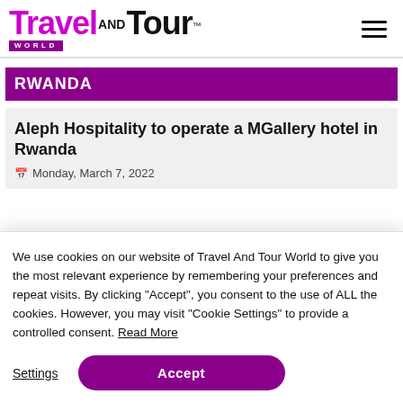[Figure (logo): Travel And Tour World logo with purple 'Travel' text, black 'AND' and 'Tour' text, and purple 'WORLD' bar below]
RWANDA
Aleph Hospitality to operate a MGallery hotel in Rwanda
Monday, March 7, 2022
We use cookies on our website of Travel And Tour World to give you the most relevant experience by remembering your preferences and repeat visits. By clicking “Accept”, you consent to the use of ALL the cookies. However, you may visit "Cookie Settings" to provide a controlled consent. Read More
Settings
Accept